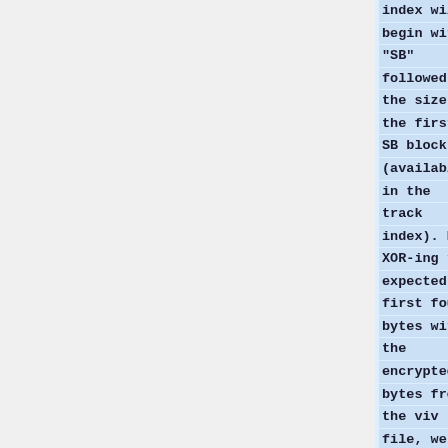index will begin with "SB" followed by the size of the first SB block (available in the track index). By XOR-ing the expected first four bytes with the encrypted 4 bytes from the viv file, we recover the "secret" SB